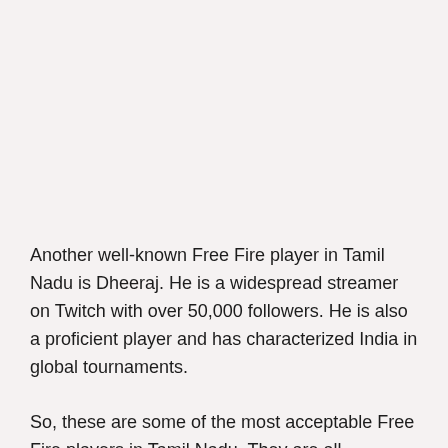Another well-known Free Fire player in Tamil Nadu is Dheeraj. He is a widespread streamer on Twitch with over 50,000 followers. He is also a proficient player and has characterized India in global tournaments.
So, these are some of the most acceptable Free Fire players in Tamil Nadu. They are all